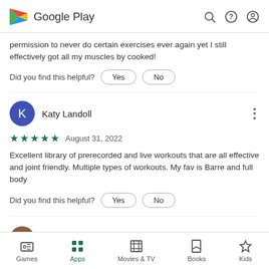Google Play
permission to never do certain exercises ever again yet I still effectively got all my muscles by cooked!
Did you find this helpful?  Yes  No
Katy Landoll
★★★★★ August 31, 2022
Excellent library of prerecorded and live workouts that are all effective and joint friendly. Multiple types of workouts. My fav is Barre and full body
Did you find this helpful?  Yes  No
Games  Apps  Movies & TV  Books  Kids